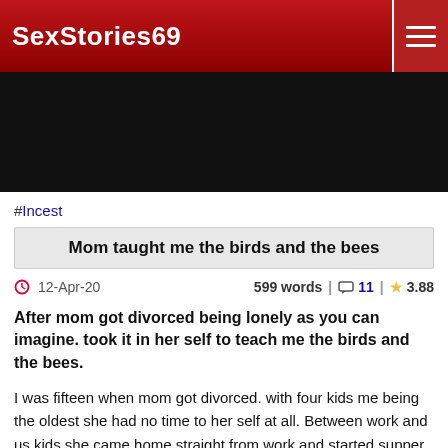SexStories69
#Incest
Mom taught me the birds and the bees
12-Apr-20   599 words | 11 | 3.88
After mom got divorced being lonely as you can imagine. took it in her self to teach me the birds and the bees.
I was fifteen when mom got divorced. with four kids me being the oldest she had no time to her self at all. Between work and us kids she came home straight from work and started supper and made sure we were all tucked in by nine.
On my sixteenth birthday she gave me a small party and let me stay the night with a couple friends. Shortly after I